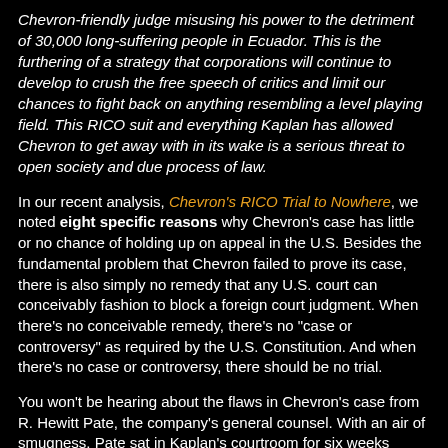Chevron-friendly judge misusing his power to the detriment of 30,000 long-suffering people in Ecuador. This is the furthering of a strategy that corporations will continue to develop to crush the free speech of critics and limit our chances to fight back on anything resembling a level playing field. This RICO suit and everything Kaplan has allowed Chevron to get away with in its wake is a serious threat to open society and due process of law.
In our recent analysis, Chevron's RICO Trial to Nowhere, we noted eight specific reasons why Chevron's case has little or no chance of holding up on appeal in the U.S. Besides the fundamental problem that Chevron failed to prove its case, there is also simply no remedy that any U.S. court can conceivably fashion to block a foreign court judgment. When there's no conceivable remedy, there's no "case or controversy" as required by the U.S. Constitution. And when there's no case or controversy, there should be no trial.
You won't be hearing about the flaws in Chevron's case from R. Hewitt Pate, the company's general counsel. With an air of smugness, Pate sat in Kaplan's courtroom for six weeks